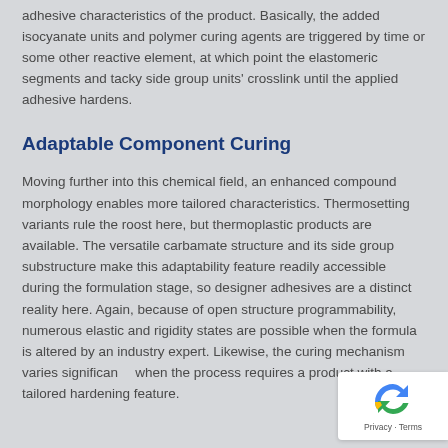adhesive characteristics of the product. Basically, the added isocyanate units and polymer curing agents are triggered by time or some other reactive element, at which point the elastomeric segments and tacky side group units' crosslink until the applied adhesive hardens.
Adaptable Component Curing
Moving further into this chemical field, an enhanced compound morphology enables more tailored characteristics. Thermosetting variants rule the roost here, but thermoplastic products are available. The versatile carbamate structure and its side group substructure make this adaptability feature readily accessible during the formulation stage, so designer adhesives are a distinct reality here. Again, because of open structure programmability, numerous elastic and rigidity states are possible when the formula is altered by an industry expert. Likewise, the curing mechanism varies significantly when the process requires a product with a tailored hardening feature.